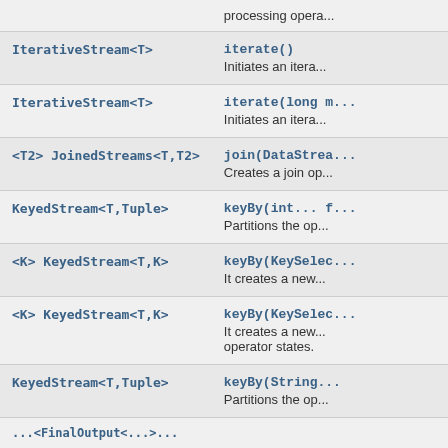| Return Type | Method |
| --- | --- |
|  | processing opera... |
| IterativeStream<T> | iterate()
Initiates an itera... |
| IterativeStream<T> | iterate(long m...
Initiates an itera... |
| <T2> JoinedStreams<T,T2> | join(DataStrea...
Creates a join op... |
| KeyedStream<T,Tuple> | keyBy(int... f...
Partitions the op... |
| <K> KeyedStream<T,K> | keyBy(KeySelec...
It creates a new... |
| <K> KeyedStream<T,K> | keyBy(KeySelec...
It creates a new...
operator states. |
| KeyedStream<T,Tuple> | keyBy(String...
Partitions the op... |
|  | ...inalOutput<...>... |